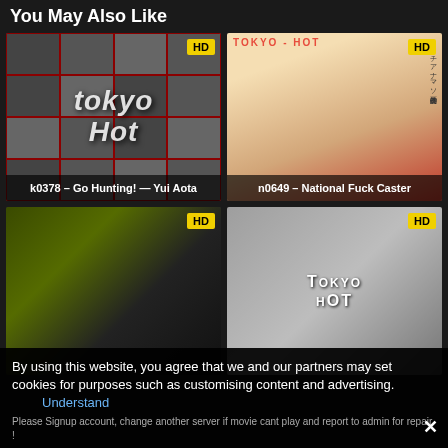You May Also Like
[Figure (photo): Tokyo Hot collage thumbnail with logo overlay, HD badge. Title: k0378 – Go Hunting! — Yui Aota]
[Figure (photo): Tokyo Hot cover with woman in white shirt on red chair, HD badge, Japanese text. Title: n0649 – National Fuck Caster]
[Figure (photo): Dark pixelated/glitched thumbnail with HD badge]
[Figure (photo): Tokyo Hot logo on gray background, HD badge]
By using this website, you agree that we and our partners may set cookies for purposes such as customising content and advertising.
Understand
Please Signup account, change another server if movie cant play and report to admin for repair !